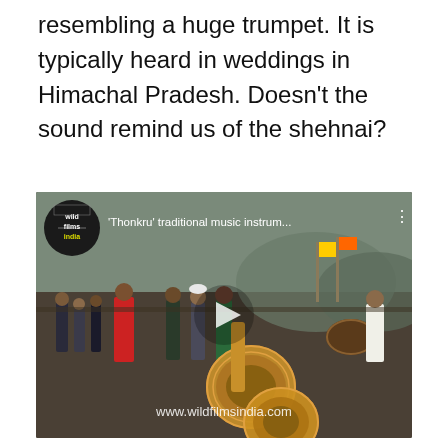resembling a huge trumpet. It is typically heard in weddings in Himachal Pradesh. Doesn't the sound remind us of the shehnai?
[Figure (screenshot): Embedded video thumbnail from Wild Films India showing traditional Thonkru music instrument being played at an outdoor gathering. Video title reads "'Thonkru' traditional music instrum..." with a play button overlay and watermark www.wildfilmsindia.com]